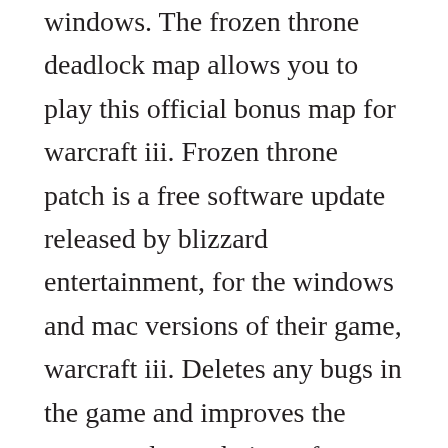windows. The frozen throne deadlock map allows you to play this official bonus map for warcraft iii. Frozen throne patch is a free software update released by blizzard entertainment, for the windows and mac versions of their game, warcraft iii. Deletes any bugs in the game and improves the games color and view of space. Download warcraft iii the frozen throne free with installer. How to download warcraft 3 frozen throne full version for. Hotkeys in dota frozen throne freeware free download. Frozen throne patch is a free software update released by blizzard